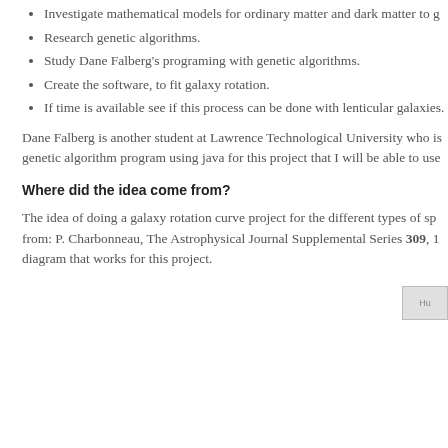Investigate mathematical models for ordinary matter and dark matter to g
Research genetic algorithms.
Study Dane Falberg's programing with genetic algorithms.
Create the software, to fit galaxy rotation.
If time is available see if this process can be done with lenticular galaxies.
Dane Falberg is another student at Lawrence Technological University who is genetic algorithm program using java for this project that I will be able to use
Where did the idea come from?
The idea of doing a galaxy rotation curve project for the different types of sp from: P. Charbonneau, The Astrophysical Journal Supplemental Series 309, 1 diagram that works for this project.
[Figure (photo): Partial image thumbnail labeled 'Hu' at the bottom right of the page]